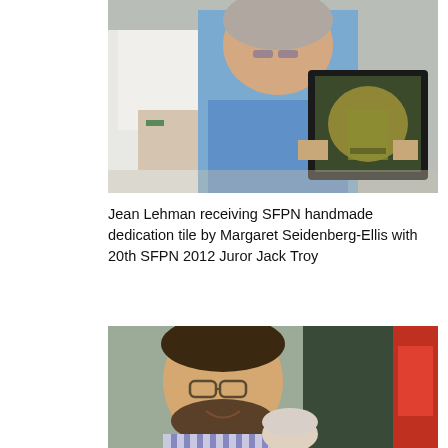[Figure (photo): Photo of Jean Lehman seated, smiling, wearing a blue shirt, holding a framed dedication tile in a black case. Another person in white stands beside her on the left.]
Jean Lehman receiving SFPN handmade dedication tile by Margaret Seidenberg-Ellis with 20th SFPN 2012 Juror Jack Troy
[Figure (photo): Photo of a young man with glasses and a beard smiling, wearing a striped shirt, with another person partially visible and a red object in the background.]